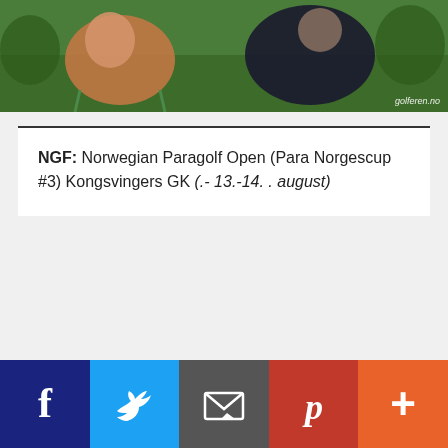[Figure (photo): Outdoor photo of people sitting, with green garden/grass background. Watermark reads 'golferen.no' in bottom right corner.]
NGF: Norwegian Paragolf Open (Para Norgescup #3) Kongsvingers GK (.- 13.-14. . august)
[Figure (infographic): Social sharing bar with five buttons: Facebook (dark blue), Twitter (blue), Email (dark gray), Pinterest (red), More/Plus (orange-red)]